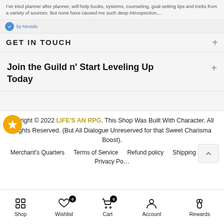I've tried planner after planner, self-help books, systems, counseling, goal-setting tips and tricks from a variety of sources. But none have caused me such deep introspection,...
GET IN TOUCH
Join the Guild n' Start Leveling Up Today
Copyright © 2022 LIFE'S AN RPG. This Shop Was Built With Character. All Rights Reserved. (But All Dialogue Unreserved for that Sweet Charisma Boost).
Merchant's Quarters   Terms of Service   Refund policy   Shipping Policy   Privacy Policy
Shop   Wishlist   Cart   Account   Rewards